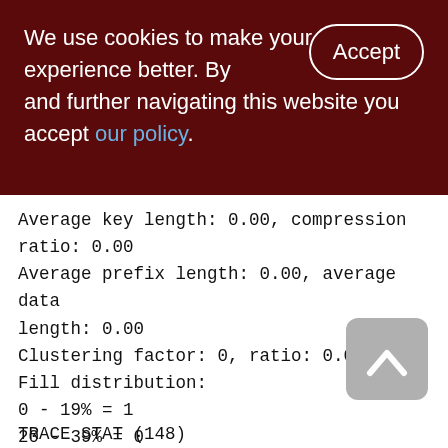We use cookies to make your experience better. By accepting and further navigating this website you accept our policy.
Average key length: 0.00, compression ratio: 0.00
Average prefix length: 0.00, average data length: 0.00
Clustering factor: 0, ratio: 0.00
Fill distribution:
0 - 19% = 1
20 - 39% = 0
40 - 59% = 0
60 - 79% = 0
80 - 99% = 0
TRACE STAT (148)